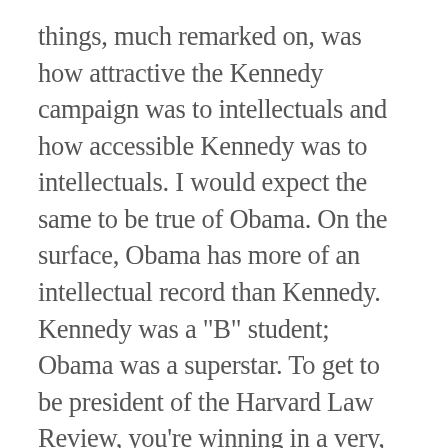things, much remarked on, was how attractive the Kennedy campaign was to intellectuals and how accessible Kennedy was to intellectuals. I would expect the same to be true of Obama. On the surface, Obama has more of an intellectual record than Kennedy. Kennedy was a "B" student; Obama was a superstar. To get to be president of the Harvard Law Review, you're winning in a very, very tough league. These are very bright people. Now, having said that, Kennedy had a very lively mind. He had an enormously important quality for president: he was intellectually curious and that meant that if someone said this was the right thing to do, he always asked why. His intellectual curiosity